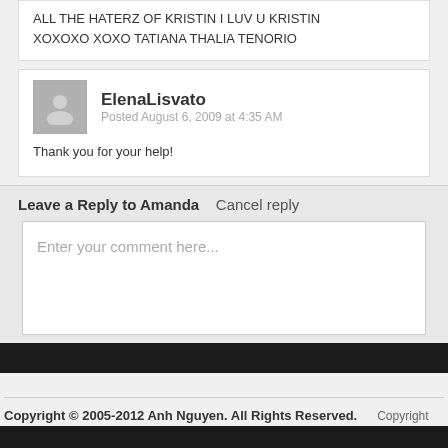ALL THE HATERZ OF KRISTIN I LUV U KRISTIN
XOXOXO XOXO TATIANA THALIA TENORIO
ElenaLisvato
Posted August 6, 2009 at 4:35 AM
Thank you for your help!
Leave a Reply to Amanda   Cancel reply
Enter your comment here...
Copyright © 2005-2012 Anh Nguyen. All Rights Reserved.   Copyright Anh-Nguyen